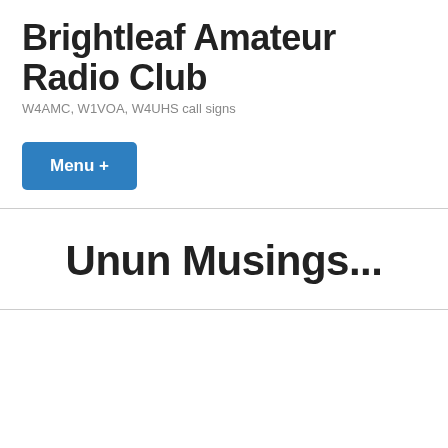Brightleaf Amateur Radio Club
W4AMC, W1VOA, W4UHS call signs
Menu +
Unun Musings...